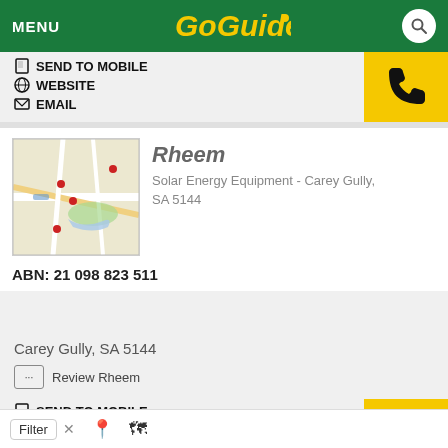MENU | GoGuide
SEND TO MOBILE
WEBSITE
EMAIL
Rheem
Solar Energy Equipment - Carey Gully, SA 5144
ABN: 21 098 823 511
Carey Gully, SA 5144
Review Rheem
SEND TO MOBILE
WEBSITE
EMAIL
Report an issue
Filter x